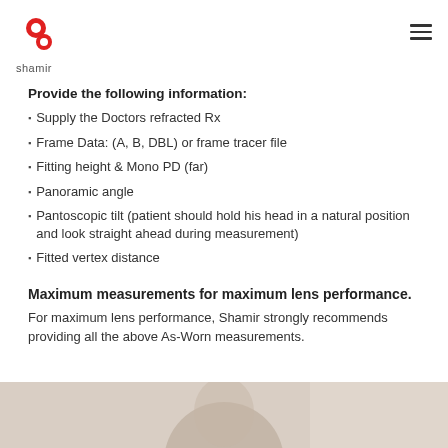shamir
Provide the following information:
Supply the Doctors refracted Rx
Frame Data: (A, B, DBL) or frame tracer file
Fitting height & Mono PD (far)
Panoramic angle
Pantoscopic tilt (patient should hold his head in a natural position and look straight ahead during measurement)
Fitted vertex distance
Maximum measurements for maximum lens performance.
For maximum lens performance, Shamir strongly recommends providing all the above As-Worn measurements.
[Figure (photo): Bottom portion of page showing a partial photo of a person, likely a patient or model, with a beige/tan background.]